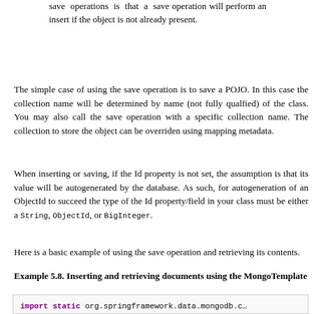save operations is that a save operation will perform an insert if the object is not already present.
The simple case of using the save operation is to save a POJO. In this case the collection name will be determined by name (not fully qualfied) of the class. You may also call the save operation with a specific collection name. The collection to store the object can be overriden using mapping metadata.
When inserting or saving, if the Id property is not set, the assumption is that its value will be autogenerated by the database. As such, for autogeneration of an ObjectId to succeed the type of the Id property/field in your class must be either a String, ObjectId, or BigInteger.
Here is a basic example of using the save operation and retrieving its contents.
Example 5.8. Inserting and retrieving documents using the MongoTemplate
[Figure (screenshot): Java code block showing import static statements, Person object creation with new Person("Bob", 33), and mongoTemplate.insert(p) call.]